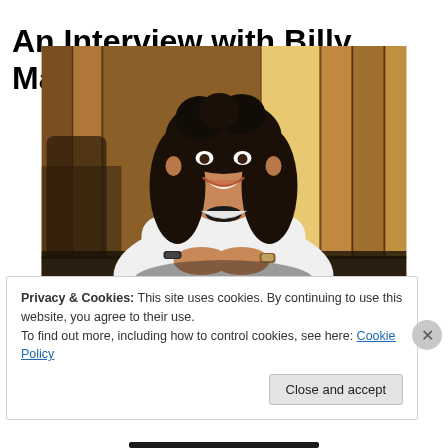An Interview with Billy Mann
[Figure (photo): Photo of Billy Mann, a man with long dark curly hair wearing a white shirt, sitting at a desk with hands clasped, smiling. Wooden paneled background.]
Privacy & Cookies: This site uses cookies. By continuing to use this website, you agree to their use.
To find out more, including how to control cookies, see here: Cookie Policy
Close and accept